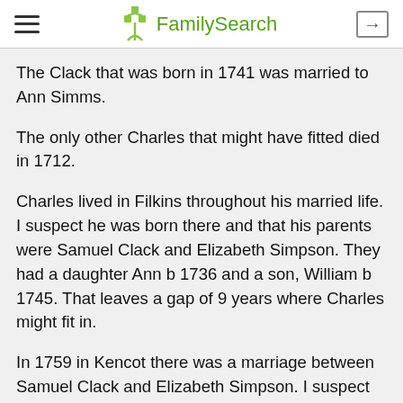FamilySearch
The Clack that was born in 1741 was married to Ann Simms.
The only other Charles that might have fitted died in 1712.
Charles lived in Filkins throughout his married life. I suspect he was born there and that his parents were Samuel Clack and Elizabeth Simpson. They had a daughter Ann b 1736 and a son, William b 1745. That leaves a gap of 9 years where Charles might fit in.
In 1759 in Kencot there was a marriage between Samuel Clack and Elizabeth Simpson. I suspect they were close relations to Charles and Mary. Was this Samuel brother to Charles? They could be siblings of Ann & William but I wonder why their births were not in the Parish Register.